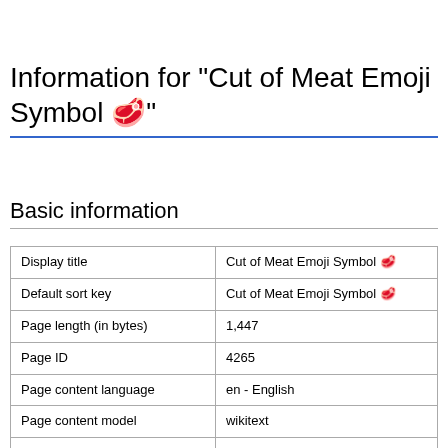Information for "Cut of Meat Emoji Symbol 🥩"
Basic information
|  |  |
| --- | --- |
| Display title | Cut of Meat Emoji Symbol 🥩 |
| Default sort key | Cut of Meat Emoji Symbol 🥩 |
| Page length (in bytes) | 1,447 |
| Page ID | 4265 |
| Page content language | en - English |
| Page content model | wikitext |
| Indexing by robots | Allowed |